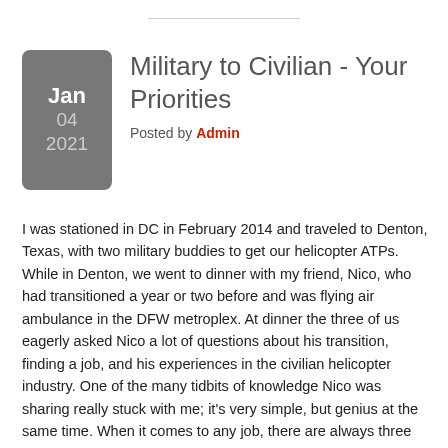Military to Civilian - Your Priorities
Posted by Admin
I was stationed in DC in February 2014 and traveled to Denton, Texas, with two military buddies to get our helicopter ATPs. While in Denton, we went to dinner with my friend, Nico, who had transitioned a year or two before and was flying air ambulance in the DFW metroplex. At dinner the three of us eagerly asked Nico a lot of questions about his transition, finding a job, and his experiences in the civilian helicopter industry. One of the many tidbits of knowledge Nico was sharing really stuck with me; it's very simple, but genius at the same time. When it comes to any job, there are always three things: equipment, pay, or boss. If you are lucky, you'll get two out of three! In later conversations, Nico added two more: